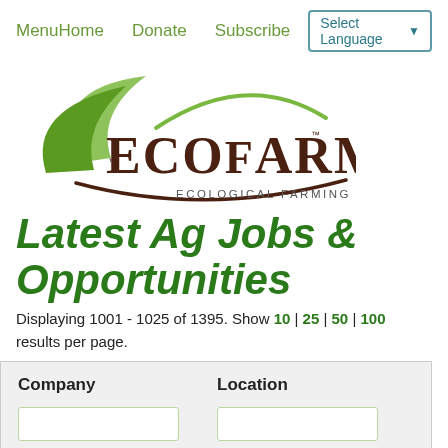Menu  Home  Donate  Subscribe  Select Language
[Figure (logo): EcoFarm - Ecological Farming Association logo with green leaf swoosh and dark brown text]
Latest Ag Jobs & Opportunities
Displaying 1001 - 1025 of 1395. Show 10 | 25 | 50 | 100 results per page.
| Company | Location |
| --- | --- |